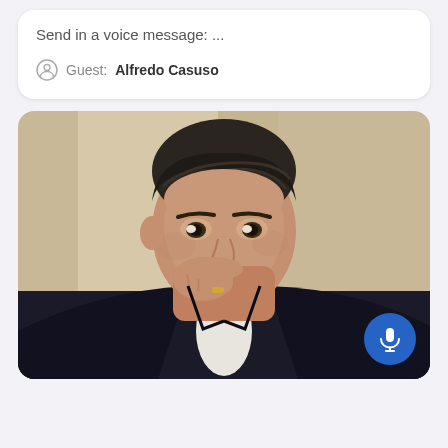Send in a voice message: ...
Guest: Alfredo Casuso
[Figure (photo): A man in a dark suit with slicked-back dark hair resting his chin on his hand, looking thoughtfully to the side. He wears a ring. Background is a neutral beige/tan. A blue microphone button overlays the bottom-right corner.]